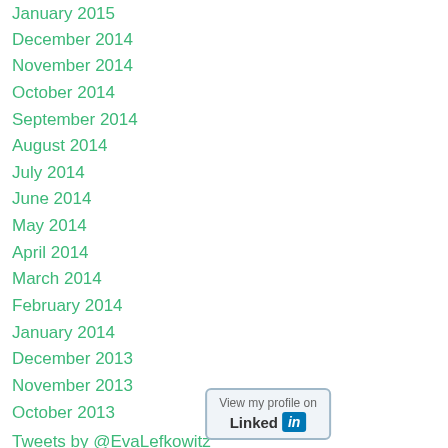January 2015
December 2014
November 2014
October 2014
September 2014
August 2014
July 2014
June 2014
May 2014
April 2014
March 2014
February 2014
January 2014
December 2013
November 2013
October 2013
Tweets by @EvaLefkowitz
RSS Feed
[Figure (logo): LinkedIn 'View my profile on LinkedIn' button badge]